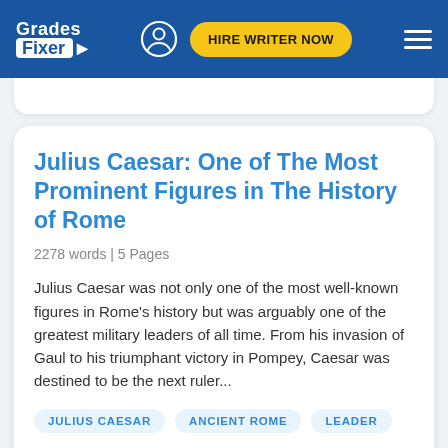Grades Fixer — HIRE WRITER NOW
Julius Caesar: One of The Most Prominent Figures in The History of Rome
2278 words | 5 Pages
Julius Caesar was not only one of the most well-known figures in Rome's history but was arguably one of the greatest military leaders of all time. From his invasion of Gaul to his triumphant victory in Pompey, Caesar was destined to be the next ruler...
JULIUS CAESAR
ANCIENT ROME
LEADER
Topics:  Aeneid, Ascanius, Roman Empire, Roman Republic